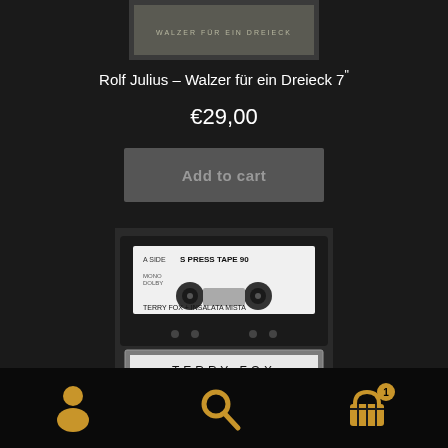[Figure (photo): Small product image at top showing a record/vinyl cover with text 'Walzer für ein Dreieck']
Rolf Julius – Walzer für ein Dreieck 7"
€29,00
Add to cart
[Figure (photo): Photo of a cassette tape with white label reading 'A SIDE S PRESS TAPE 90' and 'TERRY FOX + INSALATA MISTA', with a clear cassette case below showing 'TERRY FOX']
[Figure (infographic): Bottom navigation bar with three icons: user/account icon, search icon, and shopping basket icon with badge showing number 1]